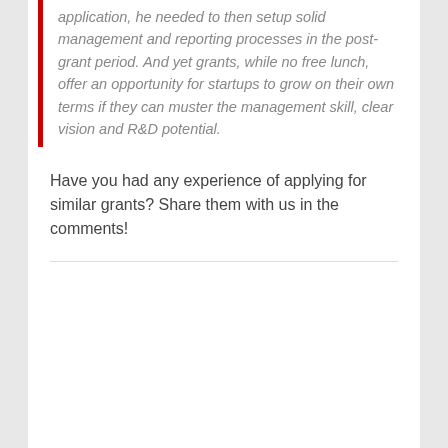application, he needed to then setup solid management and reporting processes in the post-grant period. And yet grants, while no free lunch, offer an opportunity for startups to grow on their own terms if they can muster the management skill, clear vision and R&D potential.
Have you had any experience of applying for similar grants? Share them with us in the comments!